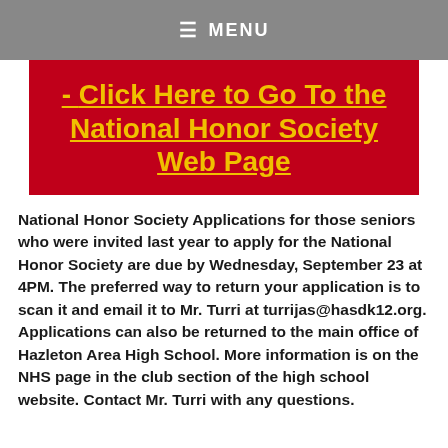≡ MENU
- Click Here to Go To the National Honor Society Web Page
National Honor Society Applications for those seniors who were invited last year to apply for the National Honor Society are due by Wednesday, September 23 at 4PM. The preferred way to return your application is to scan it and email it to Mr. Turri at turrijas@hasdk12.org. Applications can also be returned to the main office of Hazleton Area High School. More information is on the NHS page in the club section of the high school website. Contact Mr. Turri with any questions.